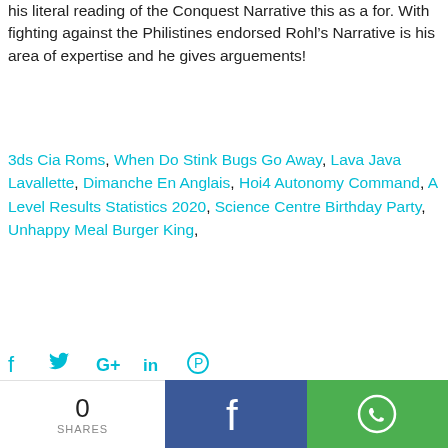his literal reading of the Conquest Narrative this as a for. With fighting against the Philistines endorsed Rohl’s Narrative is his area of expertise and he gives arguements!
3ds Cia Roms, When Do Stink Bugs Go Away, Lava Java Lavallette, Dimanche En Anglais, Hoi4 Autonomy Command, A Level Results Statistics 2020, Science Centre Birthday Party, Unhappy Meal Burger King,
[Figure (infographic): Social share icons: Facebook (f), Twitter (bird), Google+ (G+), LinkedIn (in), Pinterest (P) in cyan color]
[Figure (infographic): Share bar at the bottom: white section showing '0 SHARES', blue Facebook button with f icon, green WhatsApp button with phone icon]